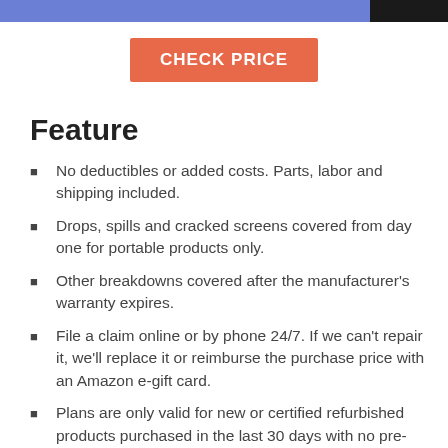CHECK PRICE
Feature
No deductibles or added costs. Parts, labor and shipping included.
Drops, spills and cracked screens covered from day one for portable products only.
Other breakdowns covered after the manufacturer's warranty expires.
File a claim online or by phone 24/7. If we can't repair it, we'll replace it or reimburse the purchase price with an Amazon e-gift card.
Plans are only valid for new or certified refurbished products purchased in the last 30 days with no pre-existing damage. Protection plan documents will be